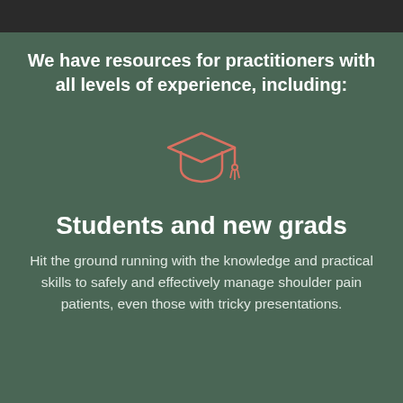[Figure (illustration): Dark photographic image bar at top of page]
We have resources for practitioners with all levels of experience, including:
[Figure (illustration): Graduation cap icon drawn in coral/salmon outline style]
Students and new grads
Hit the ground running with the knowledge and practical skills to safely and effectively manage shoulder pain patients, even those with tricky presentations.